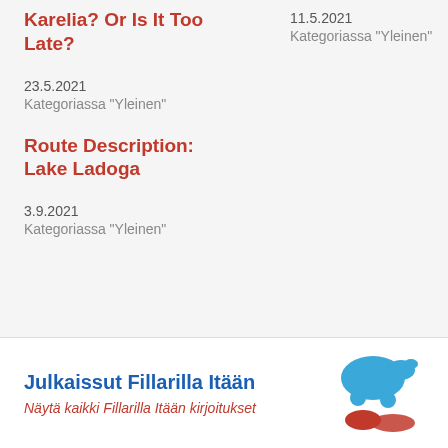Karelia? Or Is It Too Late?
23.5.2021
Kategoriassa "Yleinen"
Route Description: Lake Ladoga
3.9.2021
Kategoriassa "Yleinen"
11.5.2021
Kategoriassa "Yleinen"
Julkaissut Fillarilla Itään
Näytä kaikki Fillarilla Itään kirjoitukset
[Figure (logo): Bicycle/elephant logo in blue and red for Fillarilla Itään blog]